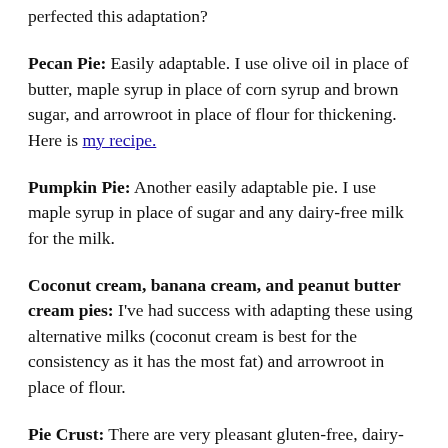perfected this adaptation?
Pecan Pie: Easily adaptable. I use olive oil in place of butter, maple syrup in place of corn syrup and brown sugar, and arrowroot in place of flour for thickening. Here is my recipe.
Pumpkin Pie: Another easily adaptable pie. I use maple syrup in place of sugar and any dairy-free milk for the milk.
Coconut cream, banana cream, and peanut butter cream pies: I've had success with adapting these using alternative milks (coconut cream is best for the consistency as it has the most fat) and arrowroot in place of flour.
Pie Crust: There are very pleasant gluten-free, dairy-free pie crusts available frozen in the store. My daughter makes her own crust using Bob's Red Mill (I believe any gluten-free flour combination will work. We have tried just using arrowroot for this recipe. But it got stringy, so best to make it with a